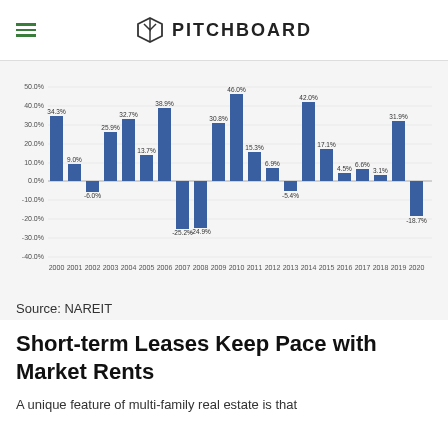PITCHBOARD
[Figure (bar-chart): Annual Returns]
Source: NAREIT
Short-term Leases Keep Pace with Market Rents
A unique feature of multi-family real estate is that